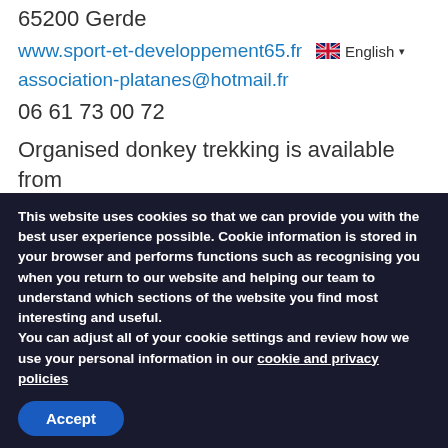65200 Gerde
www.sport-et-developpement65.fr  English ▾
association-platanes@hotmail.fr
06 61 73 00 72
Organised donkey trekking is available from Chirolet during the summer months.
[Figure (photo): Panoramic photo of green tree canopy viewed from below, sunlight filtering through leaves]
This website uses cookies so that we can provide you with the best user experience possible. Cookie information is stored in your browser and performs functions such as recognising you when you return to our website and helping our team to understand which sections of the website you find most interesting and useful.
You can adjust all of your cookie settings and review how we use your personal information in our cookie and privacy policies
Accept